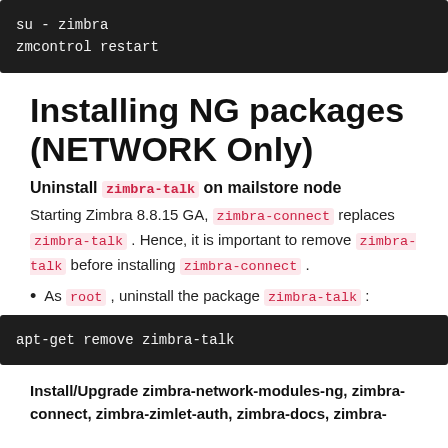[Figure (screenshot): Dark terminal code block showing: su - zimbra / zmcontrol restart]
Installing NG packages (NETWORK Only)
Uninstall zimbra-talk on mailstore node
Starting Zimbra 8.8.15 GA, zimbra-connect replaces zimbra-talk . Hence, it is important to remove zimbra-talk before installing zimbra-connect .
As root , uninstall the package zimbra-talk :
[Figure (screenshot): Dark terminal code block showing: apt-get remove zimbra-talk]
Install/Upgrade zimbra-network-modules-ng, zimbra-connect, zimbra-zimlet-auth, zimbra-docs, zimbra-